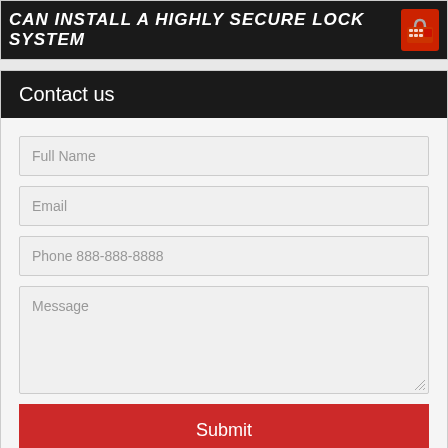[Figure (photo): Dark banner with bold white italic text 'CAN INSTALL A HIGHLY SECURE LOCK SYSTEM' with a red lock/keypad icon on the right]
Contact us
Full Name
Email
Phone 888-888-8888
Message
Submit
Commercial Locksmith
[Figure (photo): Partial bottom image showing locksmith-related items (keys or locks)]